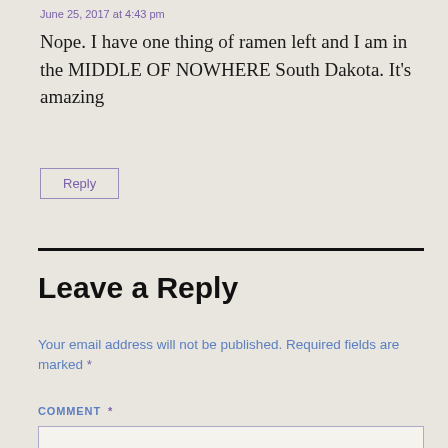June 25, 2017 at 4:43 pm
Nope. I have one thing of ramen left and I am in the MIDDLE OF NOWHERE South Dakota. It's amazing
Reply
Leave a Reply
Your email address will not be published. Required fields are marked *
COMMENT *